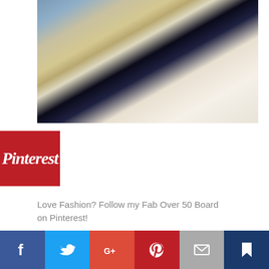[Figure (photo): Fashion photo showing denim shirt with tan belt and dark blazer/jacket against white background]
[Figure (logo): Pinterest logo badge in red square]
Love Fashion? Follow my Fab Over 50 Board on Pinterest!
archives
» October 2018 (16)
» September 2018 (2)
» August 2018 (3)
» March 2018 (1)
» December 2017 (4)
[Figure (infographic): Social sharing bar with Facebook, Twitter, Google+, Pinterest, Email, and Bookmark buttons]